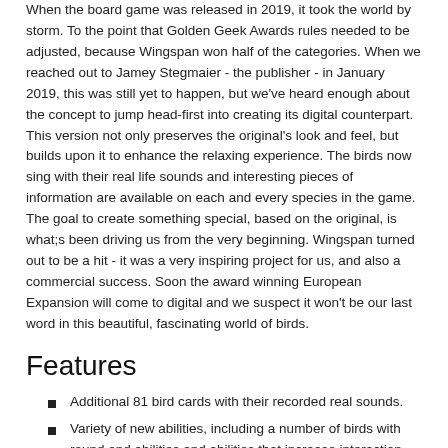When the board game was released in 2019, it took the world by storm. To the point that Golden Geek Awards rules needed to be adjusted, because Wingspan won half of the categories. When we reached out to Jamey Stegmaier - the publisher - in January 2019, this was still yet to happen, but we've heard enough about the concept to jump head-first into creating its digital counterpart. This version not only preserves the original's look and feel, but builds upon it to enhance the relaxing experience. The birds now sing with their real life sounds and interesting pieces of information are available on each and every species in the game. The goal to create something special, based on the original, is what;s been driving us from the very beginning. Wingspan turned out to be a hit - it was a very inspiring project for us, and also a commercial success. Soon the award winning European Expansion will come to digital and we suspect it won't be our last word in this beautiful, fascinating world of birds.
Features
Additional 81 bird cards with their recorded real sounds.
Variety of new abilities, including a number of birds with round end abilities and abilities that increase interaction between players.